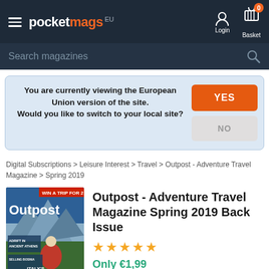[Figure (screenshot): Pocketmags EU navigation bar with hamburger menu, logo, login and basket icons]
[Figure (screenshot): Search magazines input bar]
You are currently viewing the European Union version of the site. Would you like to switch to your local site? YES NO
Digital Subscriptions > Leisure Interest > Travel > Outpost - Adventure Travel Magazine > Spring 2019
[Figure (photo): Outpost Adventure Travel Magazine Spring 2019 cover showing a hiker in the Dolomites]
Outpost - Adventure Travel Magazine Spring 2019 Back Issue
★★★★★
Only €1,99
Travel, Adventure, Culture, Outpost—